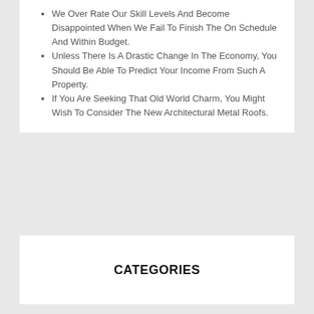We Over Rate Our Skill Levels And Become Disappointed When We Fail To Finish The On Schedule And Within Budget.
Unless There Is A Drastic Change In The Economy, You Should Be Able To Predict Your Income From Such A Property.
If You Are Seeking That Old World Charm, You Might Wish To Consider The New Architectural Metal Roofs.
CATEGORIES
ARCHIVES